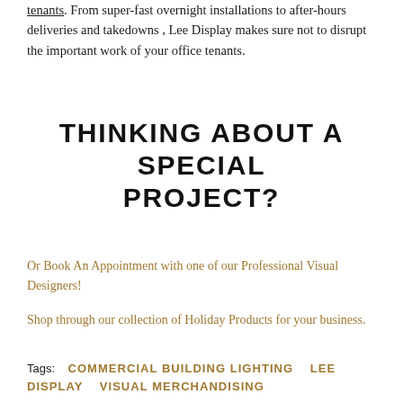tenants. From super-fast overnight installations to after-hours deliveries and takedowns , Lee Display makes sure not to disrupt the important work of your office tenants.
THINKING ABOUT A SPECIAL PROJECT?
Or Book An Appointment with one of our Professional Visual Designers!
Shop through our collection of Holiday Products for your business.
Tags: COMMERCIAL BUILDING LIGHTING   LEE DISPLAY   VISUAL MERCHANDISING